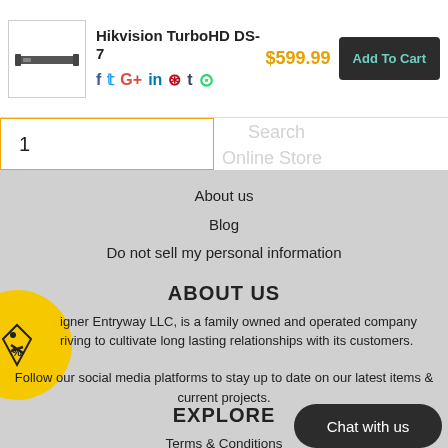[Figure (screenshot): E-commerce product page screenshot showing Hikvision TurboHD DS-7 product with price $599.99, social sharing icons, Add To Cart button, quantity field showing 1, navigation links (About us, Blog, Do not sell my personal information), About Us section with company description, Explore section with footer links (Terms & Conditions, Privacy Policy, Shipping & Returns), and Chat with us button.]
Hikvision TurboHD DS-7
$599.99
Add To Cart
1
About us
Blog
Do not sell my personal information
ABOUT US
igner Entryway LLC, is a family owned and operated company riving to cultivate long lasting relationships with its customers.
Follow our social media platforms to stay up to date on our latest items & current projects.
EXPLORE
Terms & Conditions
Privacy Policy
Shipping & Returns
Chat with us